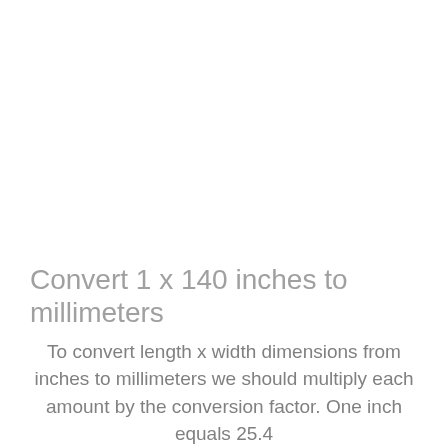Convert 1 x 140 inches to millimeters
To convert length x width dimensions from inches to millimeters we should multiply each amount by the conversion factor. One inch equals 25.4 millimeters, so to convert 1 x 140 inches to